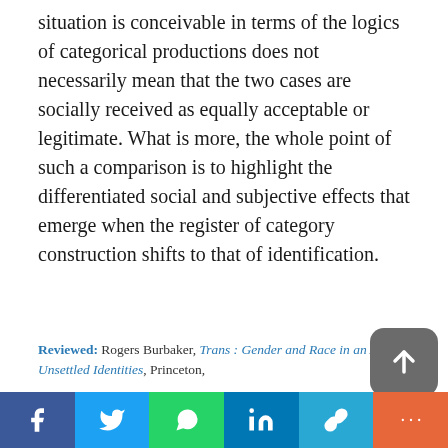situation is conceivable in terms of the logics of categorical productions does not necessarily mean that the two cases are socially received as equally acceptable or legitimate. What is more, the whole point of such a comparison is to highlight the differentiated social and subjective effects that emerge when the register of category construction shifts to that of identification.
Reviewed: Rogers Burbaker, Trans : Gender and Race in an Age of Unsettled Identities, Princeton,